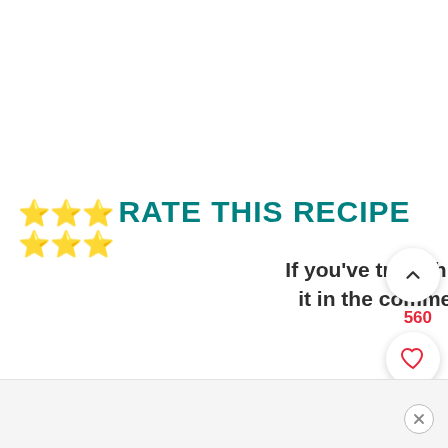⭐⭐⭐ RATE THIS RECIPE ⭐⭐⭐
If you've tried this recipe, please rate it in the comment section below.
[Figure (photo): Circular cropped photo of a cooked chicken dish with sesame seeds and sauce on a white plate, partially visible at the bottom of the page]
[Figure (infographic): UI overlay buttons: scroll-up chevron button (white circle), heart/like button (white circle), search button (red circle). Count of 560 shown in red.]
[Figure (other): Bottom advertisement bar with close (X) button]